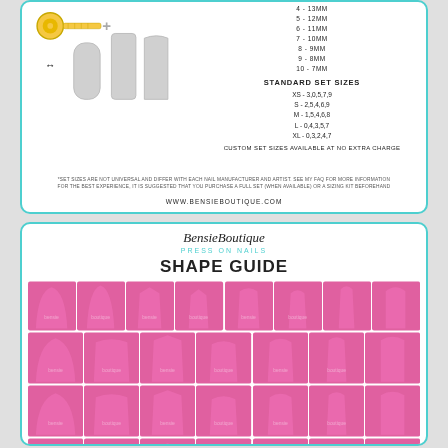[Figure (illustration): Nail sizing diagram with tape measure and nail shape illustrations with arrows]
4 - 13MM
5 - 12MM
6 - 11MM
7 - 10MM
8 - 9MM
9 - 8MM
10 - 7MM
STANDARD SET SIZES
XS - 3,0,5,7,9
S - 2,5,4,6,9
M - 1,5,4,6,8
L - 0,4,3,5,7
XL - 0,3,2,4,7
CUSTOM SET SIZES AVAILABLE AT NO EXTRA CHARGE
*SET SIZES ARE NOT UNIVERSAL AND DIFFER WITH EACH NAIL MANUFACTURER AND ARTIST. SEE MY FAQ FOR MORE INFORMATION
FOR THE BEST EXPERIENCE, IT IS SUGGESTED THAT YOU PURCHASE A FULL SET (WHEN AVAILABLE) OR A SIZING KIT BEFOREHAND
WWW.BENSIEBOUTIQUE.COM
BensieBoutique
PRESS ON NAILS
SHAPE GUIDE
[Figure (photo): Grid of pink press-on nails showing various nail shapes arranged in rows]